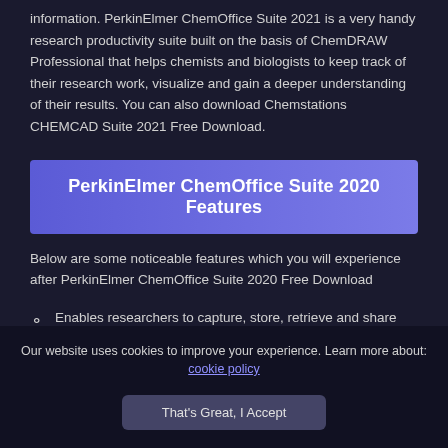information. PerkinElmer ChemOffice Suite 2021 is a very handy research productivity suite built on the basis of ChemDRAW Professional that helps chemists and biologists to keep track of their research work, visualize and gain a deeper understanding of their results. You can also download Chemstations CHEMCAD Suite 2021 Free Download.
PerkinElmer ChemOffice Suite 2020 Features
Below are some noticeable features which you will experience after PerkinElmer ChemOffice Suite 2020 Free Download
Enables researchers to capture, store, retrieve and share data and information on compounds, reactions, materials and their
Our website uses cookies to improve your experience. Learn more about: cookie policy
That's Great, I Accept